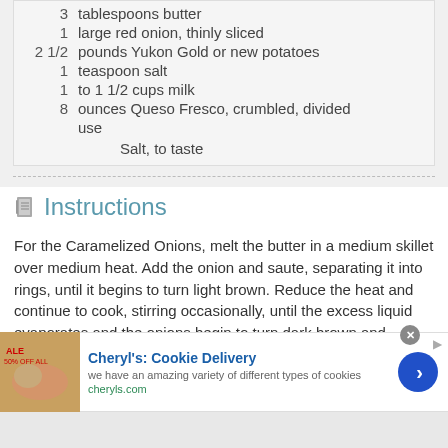3 tablespoons butter
1 large red onion, thinly sliced
2 1/2 pounds Yukon Gold or new potatoes
1 teaspoon salt
1 to 1 1/2 cups milk
8 ounces Queso Fresco, crumbled, divided use
Salt, to taste
Instructions
For the Caramelized Onions, melt the butter in a medium skillet over medium heat. Add the onion and saute, separating it into rings, until it begins to turn light brown. Reduce the heat and continue to cook, stirring occasionally, until the excess liquid evaporates and the onions begin to turn dark brown and caramelize. Set aside.
[Figure (other): Advertisement banner for Cheryl's: Cookie Delivery]